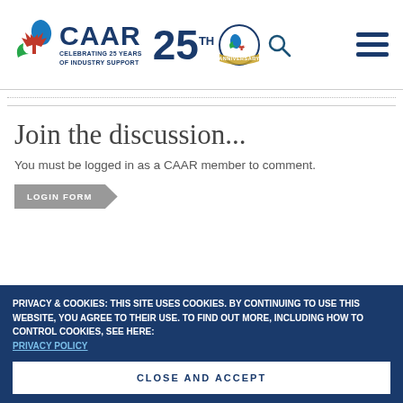[Figure (logo): CAAR logo with water drop, maple leaf, and leaf icons. Text reads CAAR in large dark blue letters, with tagline CELEBRATING 25 YEARS OF INDUSTRY SUPPORT. 25th Anniversary badge shown. Search icon and hamburger menu on right.]
Join the discussion...
You must be logged in as a CAAR member to comment.
LOGIN FORM
PRIVACY & COOKIES: THIS SITE USES COOKIES. BY CONTINUING TO USE THIS WEBSITE, YOU AGREE TO THEIR USE. TO FIND OUT MORE, INCLUDING HOW TO CONTROL COOKIES, SEE HERE: PRIVACY POLICY
CLOSE AND ACCEPT